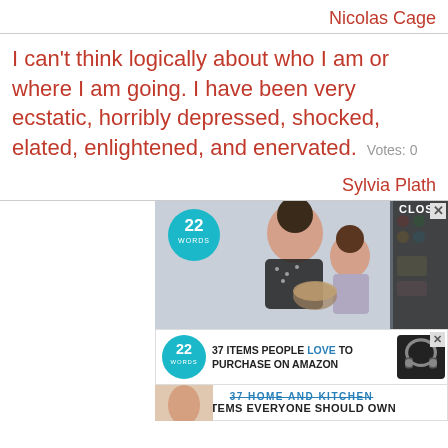Nicolas Cage
I can't think logically about who I am or where I am going. I have been very ecstatic, horribly depressed, shocked, elated, enlightened, and enervated.  Votes: 0
Sylvia Plath
[Figure (advertisement): Advertisement with image of woman and child cooking, 22 Words badge, CLOSE button, and secondary ad for '37 ITEMS PEOPLE LOVE TO PURCHASE ON AMAZON' and '37 HOME AND KITCHEN ITEMS EVERYONE SHOULD OWN']